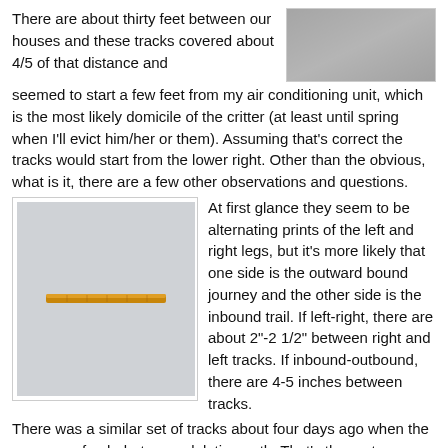There are about thirty feet between our houses and these tracks covered about 4/5 of that distance and seemed to start a few feet from my air conditioning unit, which is the most likely domicile of the critter (at least until spring when I'll evict him/her or them). Assuming that's correct the tracks would start from the lower right. Other than the obvious, what is it, there are a few other observations and questions.
[Figure (photo): A gray/dark blurry photo, likely showing snowy ground or tracks, in the upper right corner.]
[Figure (photo): A photo of a wooden pencil or stick lying horizontally on a light gray background, used as a scale reference.]
At first glance they seem to be alternating prints of the left and right legs, but it's more likely that one side is the outward bound journey and the other side is the inbound trail. If left-right, there are about 2"-2 1/2" between right and left tracks. If inbound-outbound, there are 4-5 inches between tracks.
There was a similar set of tracks about four days ago when the snow was fresh, but no undulating path. That's the part